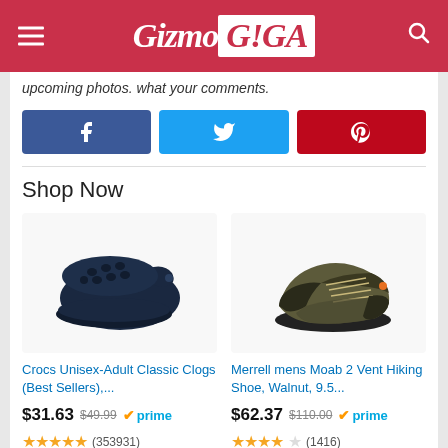Gizmo GIGA
upcoming photos. what your comments.
[Figure (infographic): Facebook, Twitter, Pinterest share buttons]
Shop Now
[Figure (photo): Crocs Unisex-Adult Classic Clogs navy blue]
[Figure (photo): Merrell mens Moab 2 Vent Hiking Shoe, Walnut]
Crocs Unisex-Adult Classic Clogs (Best Sellers),...
Merrell mens Moab 2 Vent Hiking Shoe, Walnut, 9.5...
$31.63  $49.99  prime  ★★★★★ (353931)
$62.37  $110.00  prime  ★★★★☆ (1416)
Ads by Amazon